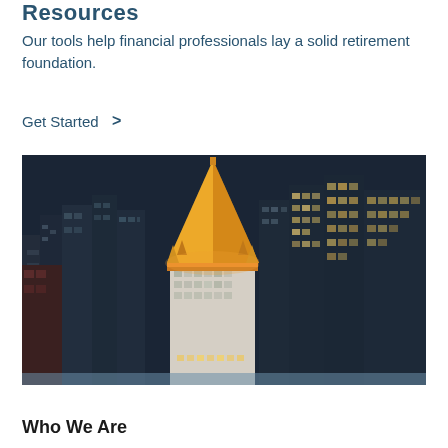Resources
Our tools help financial professionals lay a solid retirement foundation.
Get Started  >
[Figure (photo): Aerial night photograph of a city skyline featuring a prominent building with an illuminated golden pyramid-shaped roof/spire, surrounded by dark skyscrapers with lit windows.]
Who We Are